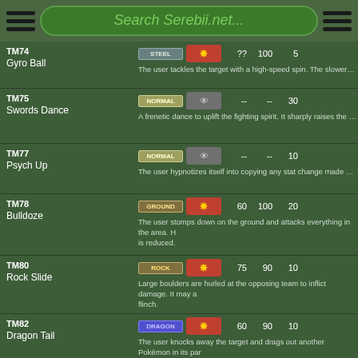Search Serebii.net...
| TM | Name | Type | Category | Power | Accuracy | PP |
| --- | --- | --- | --- | --- | --- | --- |
| TM74 | Gyro Ball | STEEL | Physical | ?? | 100 | 5 |
| TM75 | Swords Dance | NORMAL | Status | -- | -- | 30 |
| TM77 | Psych Up | NORMAL | Status | -- | -- | 10 |
| TM78 | Bulldoze | GROUND | Physical | 60 | 100 | 20 |
| TM80 | Rock Slide | ROCK | Physical | 75 | 90 | 10 |
| TM82 | Dragon Tail | DRAGON | Physical | 60 | 90 | 10 |
| TM83 | Work Up | NORMAL | Status | -- | -- | 30 |
| TM85 | Dream Eater | PSYCHIC | Special | 100 | 100 | 15 |